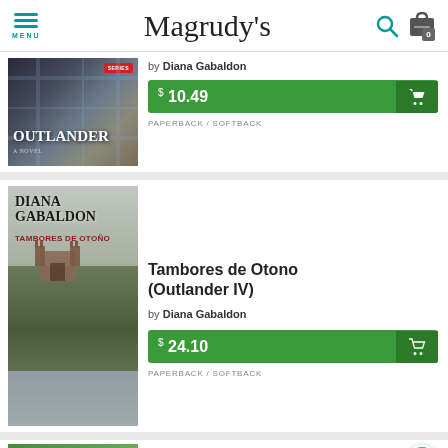Magrudy's
[Figure (photo): Outlander book cover by Diana Gabaldon, dark tartan/moody background]
by Diana Gabaldon
$ 10.49
PAPERBACK / SOFTBACK
[Figure (photo): Tambores de Otono book cover by Diana Gabaldon, castle on cliff by the sea]
Tambores de Otono (Outlander IV)
by Diana Gabaldon
$ 24.10
PAPERBACK / SOFTBACK